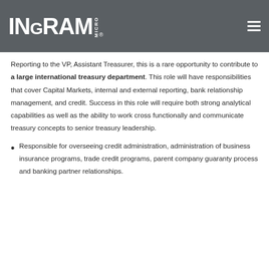[Figure (logo): Ingram Micro logo in white on dark gray header background, with hamburger menu icon on the right]
Reporting to the VP, Assistant Treasurer, this is a rare opportunity to contribute to a large international treasury department. This role will have responsibilities that cover Capital Markets, internal and external reporting, bank relationship management, and credit. Success in this role will require both strong analytical capabilities as well as the ability to work cross functionally and communicate treasury concepts to senior treasury leadership.
Responsible for overseeing credit administration, administration of business insurance programs, trade credit programs, parent company guaranty process and banking partner relationships.